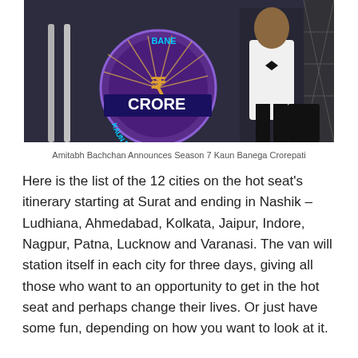[Figure (photo): Amitabh Bachchan standing on stage in front of a large Kaun Banega Crorepati logo sign with CRORE text and rupee symbols visible]
Amitabh Bachchan Announces Season 7 Kaun Banega Crorepati
Here is the list of the 12 cities on the hot seat's itinerary starting at Surat and ending in Nashik – Ludhiana, Ahmedabad, Kolkata, Jaipur, Indore, Nagpur, Patna, Lucknow and Varanasi. The van will station itself in each city for three days, giving all those who want to an opportunity to get in the hot seat and perhaps change their lives. Or just have some fun, depending on how you want to look at it.